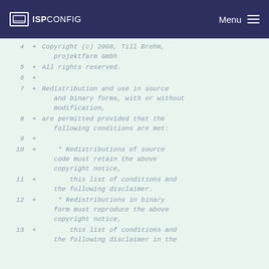ISPConfig Menu
4  + Copyright (c) 2008, Till Brehm, projektfarm Gmbh
5  + All rights reserved.
6  +
7  + Redistribution and use in source and binary forms, with or without modification,
8  + are permitted provided that the following conditions are met:
9  +
10 +      * Redistributions of source code must retain the above copyright notice,
11 +        this list of conditions and the following disclaimer.
12 +      * Redistributions in binary form must reproduce the above copyright notice,
13 +        this list of conditions and the following disclaimer in the